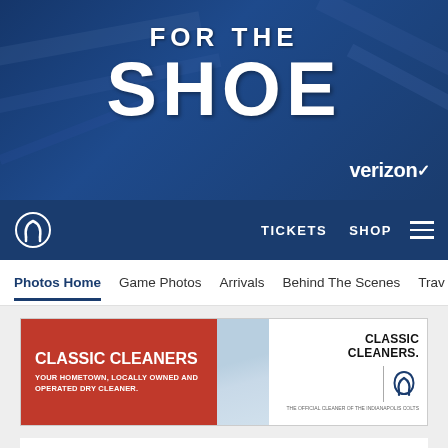[Figure (screenshot): Indianapolis Colts website header banner with dark blue background reading 'FOR THE SHOE' in large white bold letters, with Verizon logo in bottom right]
TICKETS  SHOP
Photos Home  Game Photos  Arrivals  Behind The Scenes  Trav...
[Figure (screenshot): Classic Cleaners advertisement banner with red left section reading 'CLASSIC CLEANERS YOUR HOMETOWN, LOCALLY OWNED AND OPERATED DRY CLEANER.' and right section showing dress shirt image with Classic Cleaners logo and Indianapolis Colts horseshoe logo]
Pregame Photos: Colts vs. Patriots, Week 15
Go on the field to see the Indianapolis Colts warmup ahead of their